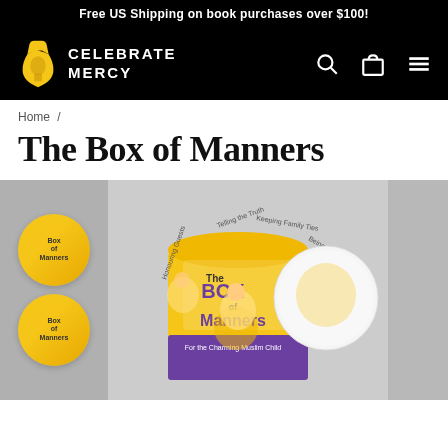Free US Shipping on book purchases over $100!
[Figure (logo): Celebrate Mercy logo — golden keyhole/lantern shape icon on black background with text CELEBRATE MERCY]
Home /
The Box of Manners
[Figure (photo): Product photo of The Box of Manners — colorful illustrated children's book set in a yellow and purple box labeled 'The Box of Manners for the Charming Muslim Child', showing cartoon children illustrations. Side books visible include 'Telling the Truth', 'Keeping Family Ties', 'Being Good to Parents', 'Honouring Guests', 'Good Things'. Left side shows partial circular product images.]